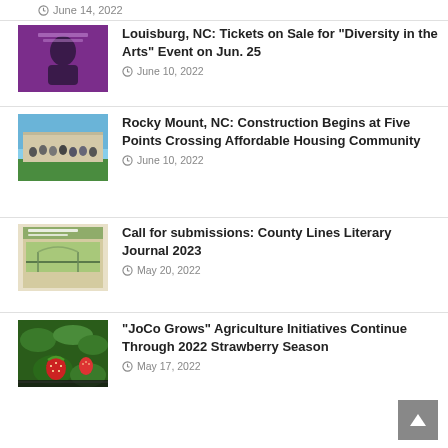June 14, 2022
Louisburg, NC: Tickets on Sale for “Diversity in the Arts” Event on Jun. 25 — June 10, 2022
Rocky Mount, NC: Construction Begins at Five Points Crossing Affordable Housing Community — June 10, 2022
Call for submissions: County Lines Literary Journal 2023 — May 20, 2022
“JoCo Grows” Agriculture Initiatives Continue Through 2022 Strawberry Season — May 17, 2022